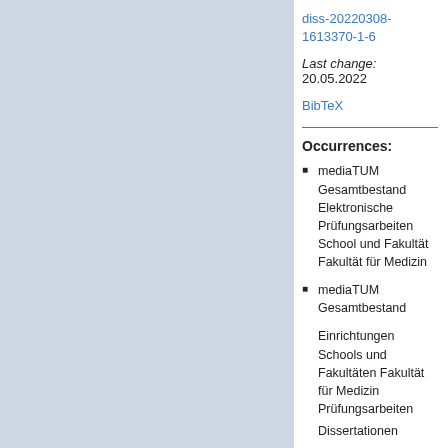[Figure (other): Light blue/grey rectangular panel occupying the left portion of the page]
diss-20220308-1613370-1-6
Last change: 20.05.2022
BibTeX
Occurrences:
mediaTUM Gesamtbestand Elektronische Prüfungsarbeiten School und Fakultät Fakultät für Medizin
mediaTUM Gesamtbestand

Einrichtungen Schools und Fakultäten Fakultät für Medizin Prüfungsarbeiten

Dissertationen